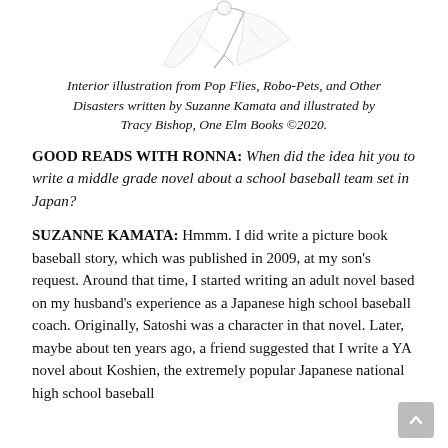[Figure (illustration): Interior illustration showing a sketched figure, likely from the book Pop Flies, Robo-Pets, and Other Disasters]
Interior illustration from Pop Flies, Robo-Pets, and Other Disasters written by Suzanne Kamata and illustrated by Tracy Bishop, One Elm Books ©2020.
GOOD READS WITH RONNA: When did the idea hit you to write a middle grade novel about a school baseball team set in Japan?
SUZANNE KAMATA: Hmmm. I did write a picture book baseball story, which was published in 2009, at my son's request. Around that time, I started writing an adult novel based on my husband's experience as a Japanese high school baseball coach. Originally, Satoshi was a character in that novel. Later, maybe about ten years ago, a friend suggested that I write a YA novel about Koshien, the extremely popular Japanese national high school baseball